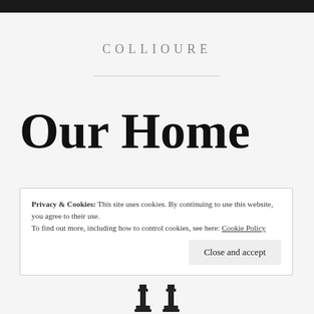COLLIOURE
Our Home
Privacy & Cookies: This site uses cookies. By continuing to use this website, you agree to their use.
To find out more, including how to control cookies, see here: Cookie Policy
Close and accept